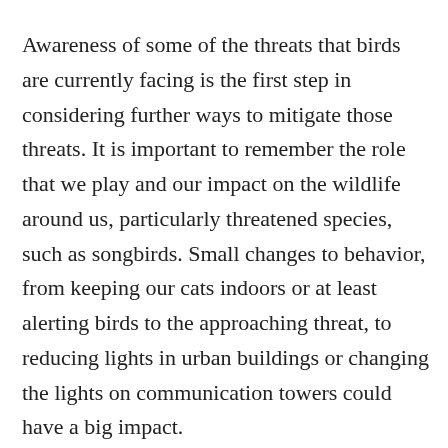Awareness of some of the threats that birds are currently facing is the first step in considering further ways to mitigate those threats. It is important to remember the role that we play and our impact on the wildlife around us, particularly threatened species, such as songbirds. Small changes to behavior, from keeping our cats indoors or at least alerting birds to the approaching threat, to reducing lights in urban buildings or changing the lights on communication towers could have a big impact.